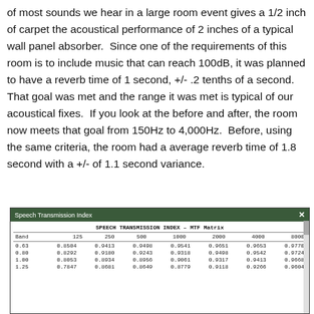of most sounds we hear in a large room event gives a 1/2 inch of carpet the acoustical performance of 2 inches of a typical wall panel absorber.  Since one of the requirements of this room is to include music that can reach 100dB, it was planned to have a reverb time of 1 second, +/- .2 tenths of a second.  That goal was met and the range it was met is typical of our acoustical fixes.  If you look at the before and after, the room now meets that goal from 150Hz to 4,000Hz.  Before, using the same criteria, the room had a average reverb time of 1.8 second with a +/- of 1.1 second variance.
[Figure (screenshot): Speech Transmission Index - MTF Matrix dialog window showing a table with Band, 125, 250, 500, 1000, 2000, 4000, 8000 columns and rows of values starting with bands 0.63, 0.80, 1.00, 1.25]